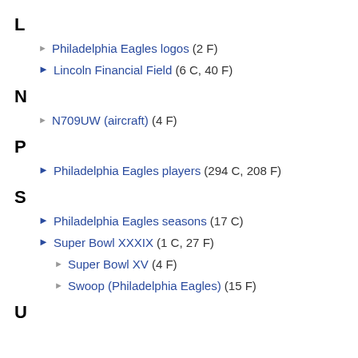L
Philadelphia Eagles logos (2 F)
Lincoln Financial Field (6 C, 40 F)
N
N709UW (aircraft) (4 F)
P
Philadelphia Eagles players (294 C, 208 F)
S
Philadelphia Eagles seasons (17 C)
Super Bowl XXXIX (1 C, 27 F)
Super Bowl XV (4 F)
Swoop (Philadelphia Eagles) (15 F)
U